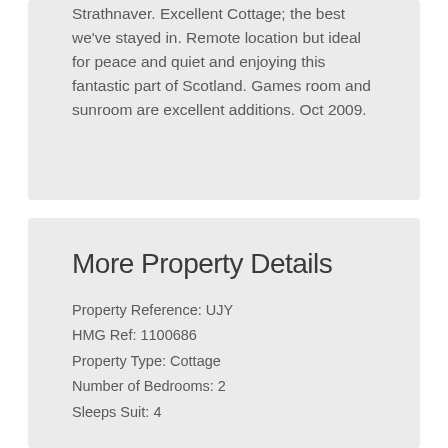Strathnaver. Excellent Cottage; the best we've stayed in. Remote location but ideal for peace and quiet and enjoying this fantastic part of Scotland. Games room and sunroom are excellent additions. Oct 2009.
More Property Details
Property Reference: UJY
HMG Ref: 1100686
Property Type: Cottage
Number of Bedrooms: 2
Sleeps Suit: 4